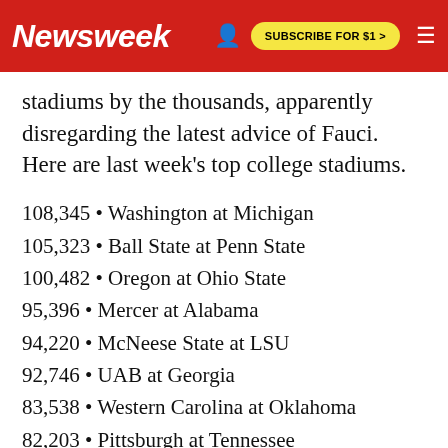Newsweek | SUBSCRIBE FOR $1 >
stadiums by the thousands, apparently disregarding the latest advice of Fauci. Here are last week's top college stadiums.
108,345 • Washington at Michigan
105,323 • Ball State at Penn State
100,482 • Oregon at Ohio State
95,396 • Mercer at Alabama
94,220 • McNeese State at LSU
92,746 • UAB at Georgia
83,538 • Western Carolina at Oklahoma
82,203 • Pittsburgh at Tennessee